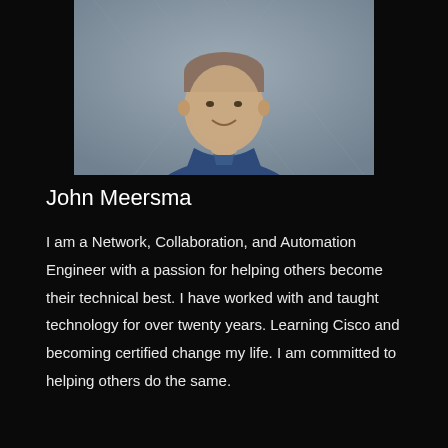[Figure (photo): Headshot photo of John Meersma, a man wearing a navy blue polo shirt, photographed against a gray background, cropped from chest up]
John Meersma
I am a Network, Collaboration, and Automation Engineer with a passion for helping others become their technical best. I have worked with and taught technology for over twenty years. Learning Cisco and becoming certified change my life. I am committed to helping others do the same.